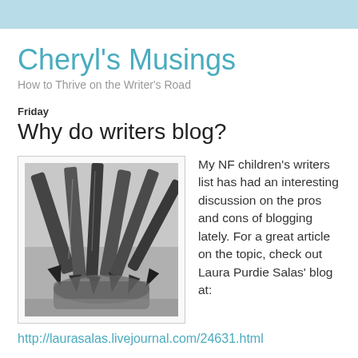Cheryl's Musings
How to Thrive on the Writer's Road
Friday
Why do writers blog?
[Figure (photo): Black and white photograph of a collection of pencils and pen nibs clustered together in a container, viewed from above at an angle.]
My NF children's writers list has had an interesting discussion on the pros and cons of blogging lately. For a great article on the topic, check out Laura Purdie Salas' blog at:
http://laurasalas.livejournal.com/24631.html